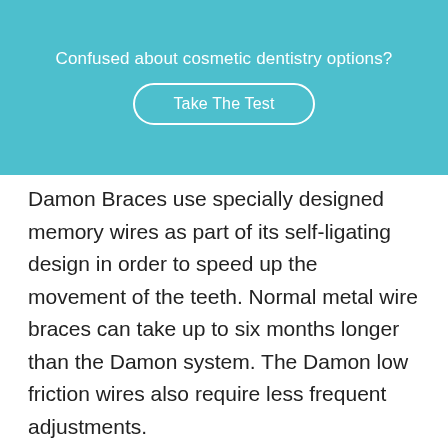[Figure (other): Teal/cyan banner with text 'Confused about cosmetic dentistry options?' and a rounded button labeled 'Take The Test']
Damon Braces use specially designed memory wires as part of its self-ligating design in order to speed up the movement of the teeth. Normal metal wire braces can take up to six months longer than the Damon system. The Damon low friction wires also require less frequent adjustments.
Discretion is a priority of Damon Braces. Although they are not as clear as 'invisible'